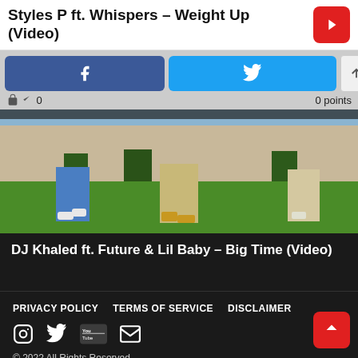Styles P ft. Whispers – Weight Up (Video)
[Figure (screenshot): Social share buttons: Facebook (blue), Twitter (cyan), and up/down vote buttons. Share count 0 and points 0 displayed below.]
[Figure (photo): Video thumbnail showing people walking on grass, lower body visible, wearing blue and khaki pants with white/gold sneakers.]
DJ Khaled ft. Future & Lil Baby – Big Time (Video)
PRIVACY POLICY   TERMS OF SERVICE   DISCLAIMER
© 2022 All Rights Reserved.